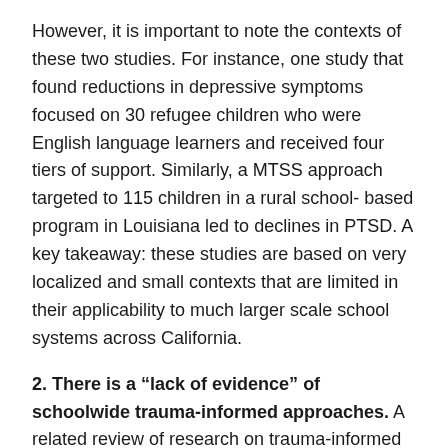However, it is important to note the contexts of these two studies. For instance, one study that found reductions in depressive symptoms focused on 30 refugee children who were English language learners and received four tiers of support. Similarly, a MTSS approach targeted to 115 children in a rural school- based program in Louisiana led to declines in PTSD. A key takeaway: these studies are based on very localized and small contexts that are limited in their applicability to much larger scale school systems across California.
2. There is a “lack of evidence” of schoolwide trauma-informed approaches. A related review of research on trauma-informed schoolwide approaches discovered no studies that were: (a) based on rigorous study designs to establish causality (e.g., randomized controlled trials), (b) conducted exclusively within school settings, and (c) based on a systemwide trauma approach (vs. trauma-